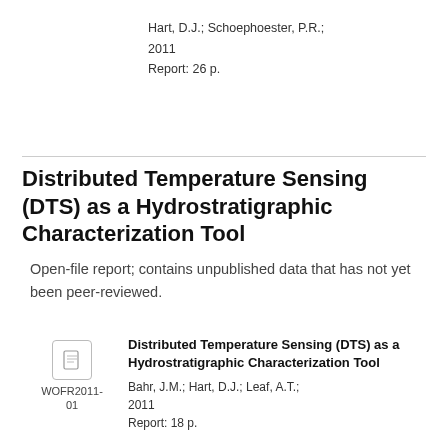Hart, D.J.; Schoephoester, P.R.;
2011
Report: 26 p.
Distributed Temperature Sensing (DTS) as a Hydrostratigraphic Characterization Tool
Open-file report; contains unpublished data that has not yet been peer-reviewed.
[Figure (illustration): Document icon thumbnail]
WOFR2011-01
Distributed Temperature Sensing (DTS) as a Hydrostratigraphic Characterization Tool
Bahr, J.M.; Hart, D.J.; Leaf, A.T.;
2011
Report: 18 p.